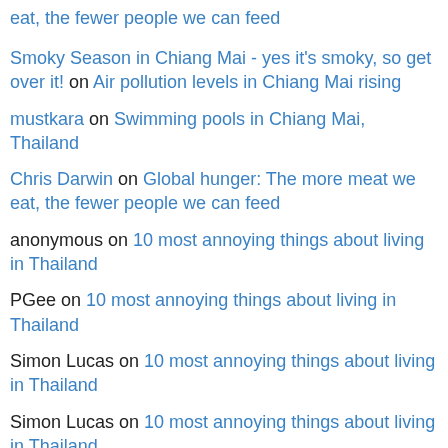eat, the fewer people we can feed
Smoky Season in Chiang Mai - yes it's smoky, so get over it! on Air pollution levels in Chiang Mai rising
mustkara on Swimming pools in Chiang Mai, Thailand
Chris Darwin on Global hunger: The more meat we eat, the fewer people we can feed
anonymous on 10 most annoying things about living in Thailand
PGee on 10 most annoying things about living in Thailand
Simon Lucas on 10 most annoying things about living in Thailand
Simon Lucas on 10 most annoying things about living in Thailand
Simon Lucas on 10 most annoying things